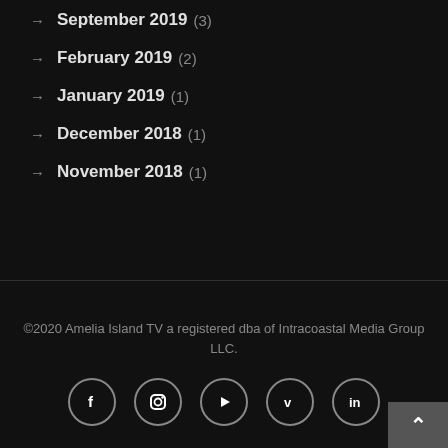→ September 2019 (3)
→ February 2019 (2)
→ January 2019 (1)
→ December 2018 (1)
→ November 2018 (1)
©2020 Amelia Island TV a registered dba of Intracoastal Media Group LLC.